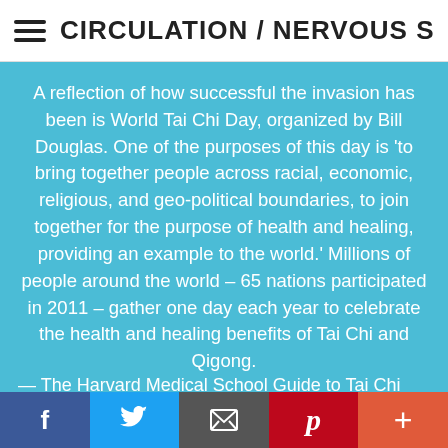CIRCULATION / NERVOUS SYSTE
A reflection of how successful the invasion has been is World Tai Chi Day, organized by Bill Douglas. One of the purposes of this day is ‘to bring together people across racial, economic, religious, and geo-political boundaries, to join together for the purpose of health and healing, providing an example to the world.’ Millions of people around the world – 65 nations participated in 2011 – gather one day each year to celebrate the health and healing benefits of Tai Chi and Qigong.
— The Harvard Medical School Guide to Tai Chi (page